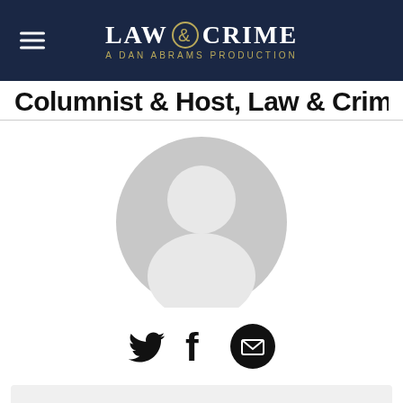LAW & CRIME — A DAN ABRAMS PRODUCTION
Columnist & Host, Law & Crime
[Figure (illustration): Placeholder avatar/silhouette of a person — grey circle with white head and shoulders silhouette]
[Figure (infographic): Social media icons: Twitter bird, Facebook f, and email envelope in a black circle]
Elura is a NYC Prosecutor-turned-entrepreneur, who handles TV legal analysis with a sharp tongue and a quick wit. She is a media expert, an has starred in starred in everything